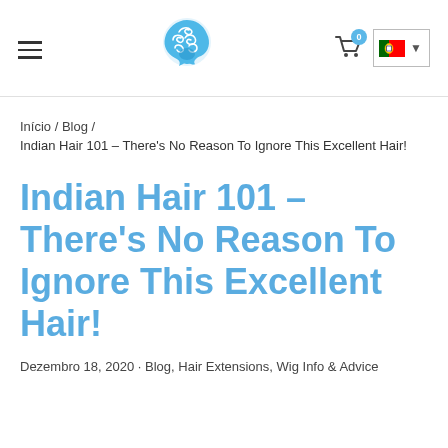Header with hamburger menu, logo, cart, and language selector
Início / Blog /
Indian Hair 101 – There's No Reason To Ignore This Excellent Hair!
Indian Hair 101 – There's No Reason To Ignore This Excellent Hair!
Dezembro 18, 2020 · Blog, Hair Extensions, Wig Info & Advice